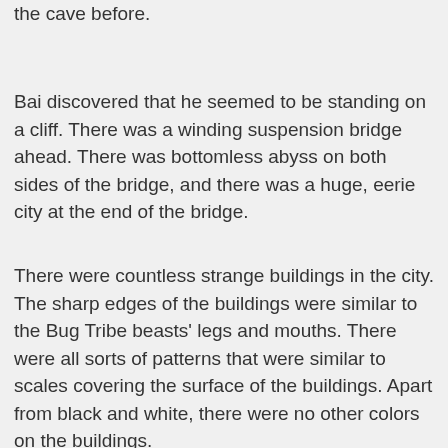The style of the space was completely different from the cave before.
Bai discovered that he seemed to be standing on a cliff. There was a winding suspension bridge ahead. There was bottomless abyss on both sides of the bridge, and there was a huge, eerie city at the end of the bridge.
There were countless strange buildings in the city. The sharp edges of the buildings were similar to the Bug Tribe beasts' legs and mouths. There were all sorts of patterns that were similar to scales covering the surface of the buildings. Apart from black and white, there were no other colors on the buildings.